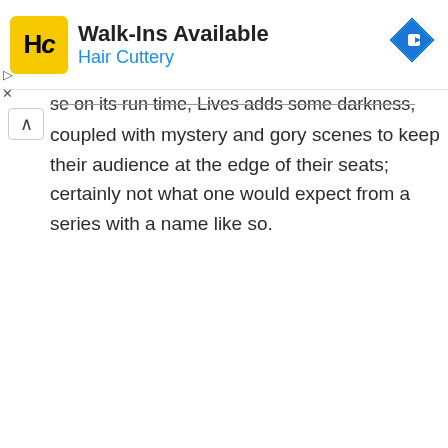[Figure (infographic): Hair Cuttery advertisement banner with yellow HC logo, text 'Walk-Ins Available' in bold black, 'Hair Cuttery' in blue, and a blue diamond navigation icon on the right]
se on its run time, Lives adds some darkness, coupled with mystery and gory scenes to keep their audience at the edge of their seats; certainly not what one would expect from a series with a name like so.